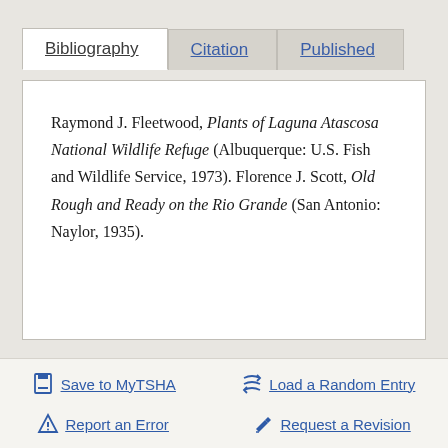Bibliography
Citation
Published
Raymond J. Fleetwood, Plants of Laguna Atascosa National Wildlife Refuge (Albuquerque: U.S. Fish and Wildlife Service, 1973). Florence J. Scott, Old Rough and Ready on the Rio Grande (San Antonio: Naylor, 1935).
Save to MyTSHA
Load a Random Entry
Report an Error
Request a Revision